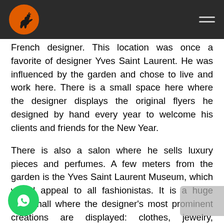Navigation bar with logo and hamburger menu
French designer. This location was once a favorite of designer Yves Saint Laurent. He was influenced by the garden and chose to live and work here. There is a small space here where the designer displays the original flyers he designed by hand every year to welcome his clients and friends for the New Year.
There is also a salon where he sells luxury pieces and perfumes. A few meters from the garden is the Yves Saint Laurent Museum, which would appeal to all fashionistas. It is a huge show hall where the designer's most prominent creations are displayed: clothes, jewelry, accessories, and hats. Only the objects are lit in the hall, which is dark. It appears to be very trendy, but photography is not permitted.